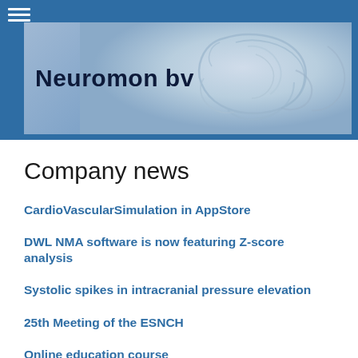Neuromon bv
Company news
CardioVascularSimulation in AppStore
DWL NMA software is now featuring Z-score analysis
Systolic spikes in intracranial pressure elevation
25th Meeting of the ESNCH
Online education course